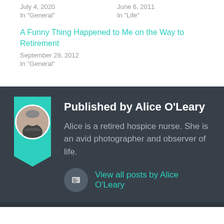July 4, 2020
In "General"
June 6, 2011
In "Life"
A Funny Thing Happened to Me on the Way to Retirement
September 29, 2012
In "General"
Published by Alice O'Leary
Alice is a retired hospice nurse. She is an avid photographer and observer of life.
View all posts by Alice O'Leary